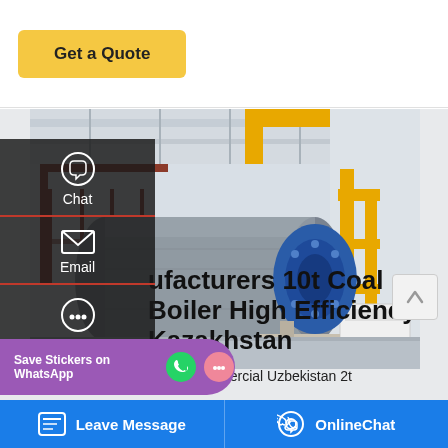[Figure (screenshot): Get a Quote yellow button on white background at top of page]
[Figure (photo): Industrial boiler installation in a factory/plant setting. A large cylindrical horizontal boiler with a blue motor/burner assembly is the main subject. Yellow gas pipes run along the right wall and ceiling. The facility has a high ceiling with metal structure. Reddish-brown metal stairs/platform visible behind the boiler on the left.]
ufacturers 10t Coal Boiler High Efficiency Kazakhstan
Agent Commercial Uzbekistan 2t
[Figure (screenshot): WhatsApp Save Stickers overlay with phone and emoji icons on purple background]
Leave Message
OnlineChat